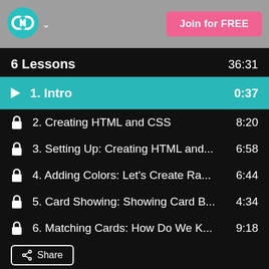[Figure (logo): Teal circular logo with two interlocking circles, resembling an infinity/loop symbol]
Join for FREE
6 Lessons    36:31
1. Intro    0:37
2. Creating HTML and CSS    8:20
3. Setting Up: Creating HTML and...    6:58
4. Adding Colors: Let's Create Ra...    6:44
5. Card Showing: Showing Card B...    4:34
6. Matching Cards: How Do We K...    9:18
Share